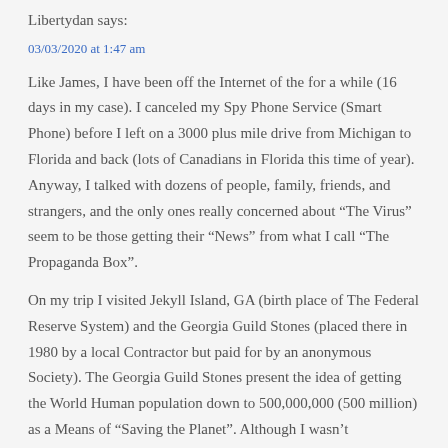Libertydan says:
03/03/2020 at 1:47 am
Like James, I have been off the Internet of the for a while (16 days in my case). I canceled my Spy Phone Service (Smart Phone) before I left on a 3000 plus mile drive from Michigan to Florida and back (lots of Canadians in Florida this time of year). Anyway, I talked with dozens of people, family, friends, and strangers, and the only ones really concerned about “The Virus” seem to be those getting their “News” from what I call “The Propaganda Box”.
On my trip I visited Jekyll Island, GA (birth place of The Federal Reserve System) and the Georgia Guild Stones (placed there in 1980 by a local Contractor but paid for by an anonymous Society). The Georgia Guild Stones present the idea of getting the World Human population down to 500,000,000 (500 million) as a Means of “Saving the Planet”. Although I wasn’t particularly impressed with the 19ft-3” high structure and the message repeated in 8 languages, it does seem to correlate with what we are experiencing. This is a Great Article by James,(as can often be assessed by the number of comments), yet I think it raises more significant